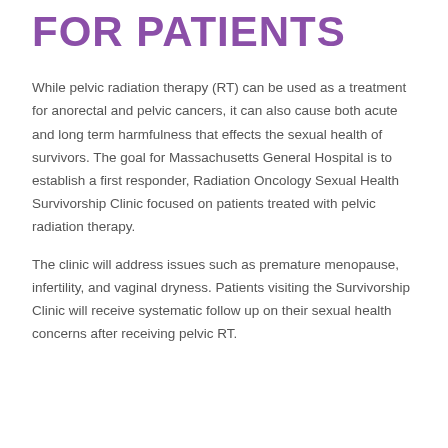FOR PATIENTS
While pelvic radiation therapy (RT) can be used as a treatment for anorectal and pelvic cancers, it can also cause both acute and long term harmfulness that effects the sexual health of survivors. The goal for Massachusetts General Hospital is to establish a first responder, Radiation Oncology Sexual Health Survivorship Clinic focused on patients treated with pelvic radiation therapy.
The clinic will address issues such as premature menopause, infertility, and vaginal dryness. Patients visiting the Survivorship Clinic will receive systematic follow up on their sexual health concerns after receiving pelvic RT.